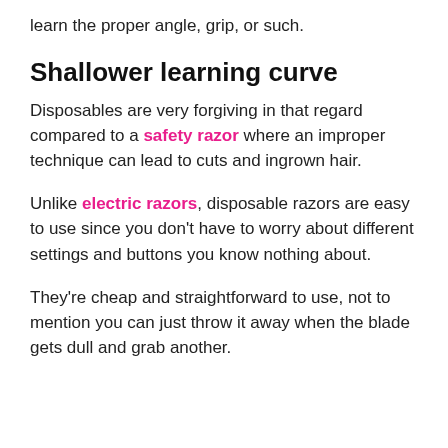learn the proper angle, grip, or such.
Shallower learning curve
Disposables are very forgiving in that regard compared to a safety razor where an improper technique can lead to cuts and ingrown hair.
Unlike electric razors, disposable razors are easy to use since you don’t have to worry about different settings and buttons you know nothing about.
They’re cheap and straightforward to use, not to mention you can just throw it away when the blade gets dull and grab another.